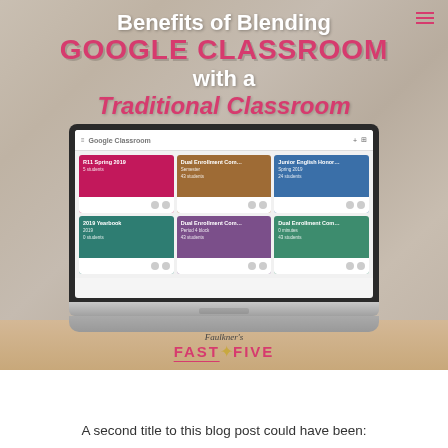[Figure (photo): Blog post cover image showing a laptop displaying Google Classroom interface on a wooden desk with plants and a mug, overlaid with text: 'Benefits of Blending GOOGLE CLASSROOM with a Traditional Classroom' and the Faulkner's Fast Five logo]
A second title to this blog post could have been: